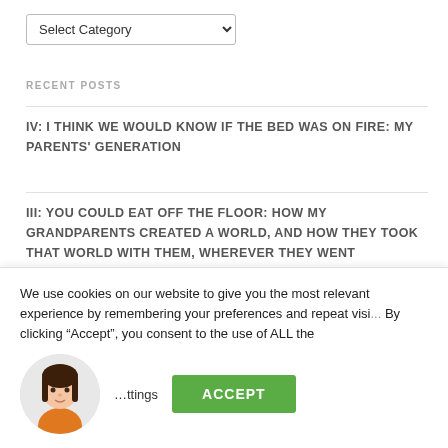[Figure (screenshot): Dropdown select element labeled 'Select Category']
RECENT POSTS
IV: I THINK WE WOULD KNOW IF THE BED WAS ON FIRE: MY PARENTS' GENERATION
III: YOU COULD EAT OFF THE FLOOR: HOW MY GRANDPARENTS CREATED A WORLD, AND HOW THEY TOOK THAT WORLD WITH THEM, WHEREVER THEY WENT
II. BOTH ITALIAN AND AMERICAN: MULTIPLE LIVES IN MULTIPLE WORLDS
We use cookies on our website to give you the most relevant experience by remembering your preferences and repeat visi... By clicking “Accept”, you consent to the use of ALL the
...ttings
ACCEPT